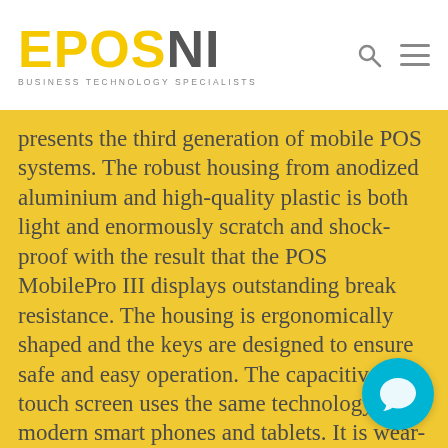EPOSNI — BUSINESS TECHNOLOGY SPECIALISTS
presents the third generation of mobile POS systems. The robust housing from anodized aluminium and high-quality plastic is both light and enormously scratch and shock-proof with the result that the POS MobilePro III displays outstanding break resistance. The housing is ergonomically shaped and the keys are designed to ensure safe and easy operation. The capacitive touch screen uses the same technology as modern smart phones and tablets. It is wear-free, convenient to operate and easy to clean.
[Figure (illustration): Teal/cyan circular chat button with a speech bubble icon in white, positioned at bottom right of the page]